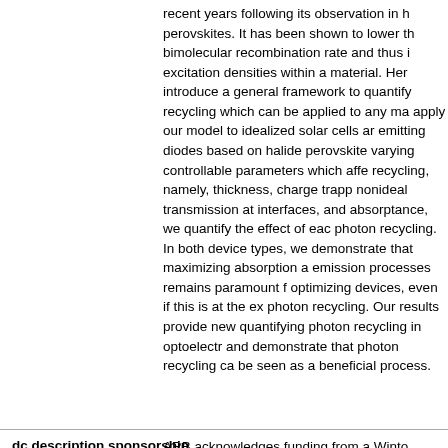recent years following its observation in halide perovskites. It has been shown to lower the bimolecular recombination rate and thus increase excitation densities within a material. Here, we introduce a general framework to quantify photon recycling which can be applied to any material. We apply our model to idealized solar cells and light-emitting diodes based on halide perovskites by varying controllable parameters which affect photon recycling, namely, thickness, charge trapping, nonideal transmission at interfaces, and below-gap absorptance, we quantify the effect of each on photon recycling. In both device types, we demonstrate that maximizing absorption and emission processes remains paramount for optimizing devices, even if this is at the expense of photon recycling. Our results provide new tools for quantifying photon recycling in optoelectronics and demonstrate that photon recycling cannot always be seen as a beneficial process.
| dc.description.sponsorship |  |
| --- | --- |
| dc.description.sponsorship | ARB acknowledges funding from a Winston Churchill Studentship, Oppenheimer Studentship and Engineering and Physical Sciences Research Council (EPSRC) Doctoral Training Centre in Photovoltaics (CDT-PV). MA acknowledges funding from the Marie Skłodowska-Curie actions... |